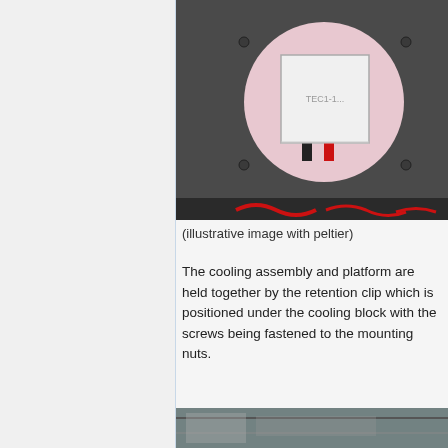[Figure (photo): Photo of a dark square metal panel with a circular cutout containing a pink/white foam piece and a white square Peltier module with black and red wires. Screws visible at corners.]
(illustrative image with peltier)
The cooling assembly and platform are held together by the retention clip which is positioned under the cooling block with the screws being fastened to the mounting nuts.
[Figure (photo): Partial photo of another assembly component, cut off at bottom of page.]